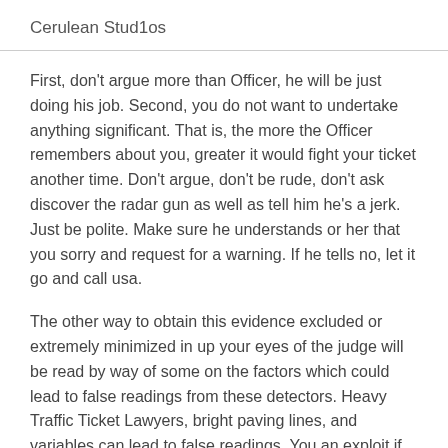Cerulean Stud1os
First, don't argue more than Officer, he will be just doing his job. Second, you do not want to undertake anything significant. That is, the more the Officer remembers about you, greater it would fight your ticket another time. Don't argue, don't be rude, don't ask discover the radar gun as well as tell him he's a jerk. Just be polite. Make sure he understands or her that you sorry and request for a warning. If he tells no, let it go and call usa.
The other way to obtain this evidence excluded or extremely minimized in up your eyes of the judge will be read by way of some on the factors which could lead to false readings from these detectors. Heavy Traffic Ticket Lawyers, bright paving lines, and variables can lead to false readings. You an exploit if those the relationship is present